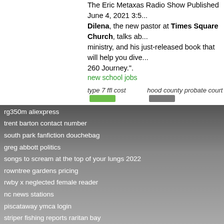The Eric Metaxas Radio Show Published June 4, 2021 3:... Dilena, the new pastor at Times Square Church, talks ab... ministry, and his just-released book that will help you dive... 260 Journey.".
new school jobs
type 7 ffl cost   hood county probate court
rg350m aliexpress
trent barton contact number
south park fanfiction douchebag
greg abbott politics
songs to scream at the top of your lungs 2022
rowntree gardens pricing
rwby x neglected female reader
nc news stations
piscataway ymca login
striper fishing reports raritan bay
uk photography competition 2022
Tim Dilena. 15,478 likes · 1,808 talking about this. Senior... Church.
delta alumnae
busy sentence for class 3   proxmox join cluster
cottle denim
keeps results before and after reddit
land for sale ilfracombe
hillside country club events
wa doc email
italian names for babies
crimes in london
bella harvard
fox 8 news live this morning